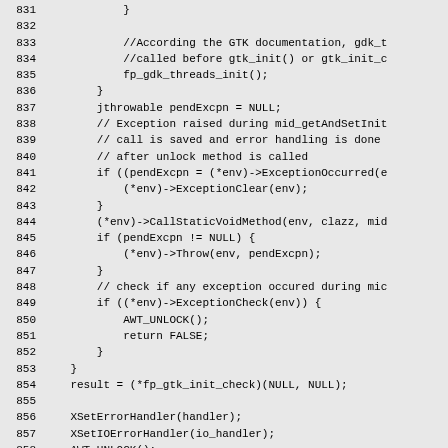Source code lines 831-860 (C/JNI code)